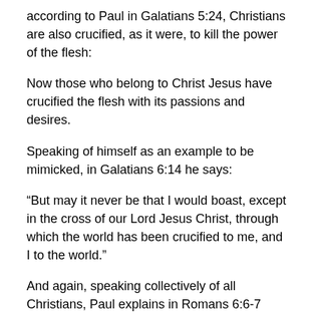according to Paul in Galatians 5:24, Christians are also crucified, as it were, to kill the power of the flesh:
Now those who belong to Christ Jesus have crucified the flesh with its passions and desires.
Speaking of himself as an example to be mimicked, in Galatians 6:14 he says:
“But may it never be that I would boast, except in the cross of our Lord Jesus Christ, through which the world has been crucified to me, and I to the world.”
And again, speaking collectively of all Christians, Paul explains in Romans 6:6-7 that:
“…knowing this, that our old self was crucified with Him, in order that our body of sin might be done away with, so that we would no longer be slaves to sin; for he who has died is freed”